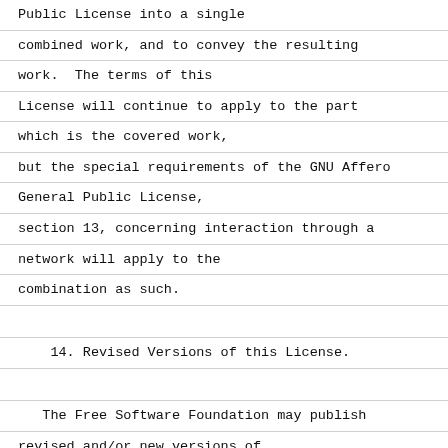Public License into a single
combined work, and to convey the resulting
work.  The terms of this
License will continue to apply to the part
which is the covered work,
but the special requirements of the GNU Affero
General Public License,
section 13, concerning interaction through a
network will apply to the
combination as such.
14. Revised Versions of this License.
The Free Software Foundation may publish
revised and/or new versions of
the GNU General Public License from time to
time.  Such new versions will